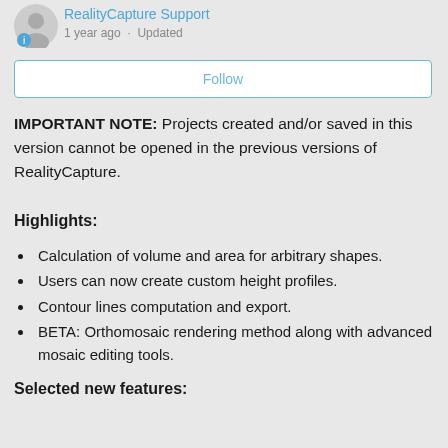RealityCapture Support · 1 year ago · Updated
[Figure (screenshot): Follow button - a white rectangle button with blue border and blue 'Follow' text]
IMPORTANT NOTE: Projects created and/or saved in this version cannot be opened in the previous versions of RealityCapture.
Highlights:
Calculation of volume and area for arbitrary shapes.
Users can now create custom height profiles.
Contour lines computation and export.
BETA: Orthomosaic rendering method along with advanced mosaic editing tools.
Selected new features: